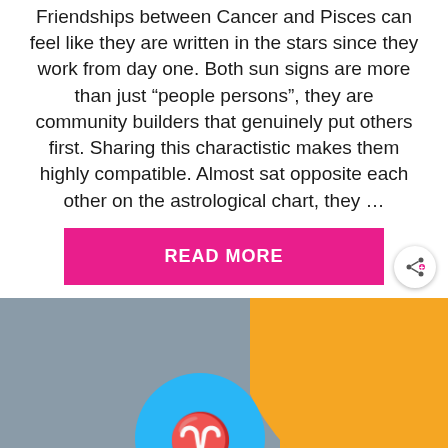Friendships between Cancer and Pisces can feel like they are written in the stars since they work from day one. Both sun signs are more than just “people persons”, they are community builders that genuinely put others first. Sharing this charactistic makes them highly compatible. Almost sat opposite each other on the astrological chart, they …
[Figure (other): Magenta/pink READ MORE button]
[Figure (other): Share icon button (circular white button with share symbol)]
[Figure (other): WHAT'S NEXT panel showing Virgo and Aquarius... with a circular thumbnail image]
[Figure (illustration): Partial image showing zodiac sign icons (Cancer crab symbol on blue circle, Leo lion symbol on blue circle) against a grey and orange background]